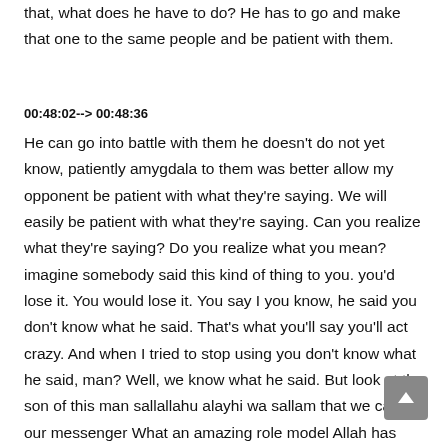that, what does he have to do? He has to go and make that one to the same people and be patient with them.
00:48:02--> 00:48:36
He can go into battle with them he doesn't do not yet know, patiently amygdala to them was better allow my opponent be patient with what they're saying. We will easily be patient with what they're saying. Can you realize what they're saying? Do you realize what you mean? imagine somebody said this kind of thing to you. you'd lose it. You would lose it. You say I you know, he said you don't know what he said. That's what you'll say you'll act crazy. And when I tried to stop using you don't know what he said, man? Well, we know what he said. But look at the son of this man sallallahu alayhi wa sallam that we call our messenger What an amazing role model Allah has given us in terms